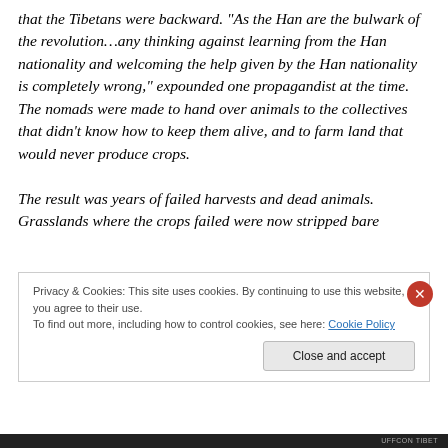that the Tibetans were backward. “As the Han are the bulwark of the revolution…any thinking against learning from the Han nationality and welcoming the help given by the Han nationality is completely wrong,” expounded one propagandist at the time. The nomads were made to hand over animals to the collectives that didn’t know how to keep them alive, and to farm land that would never produce crops. The result was years of failed harvests and dead animals. Grasslands where the crops failed were now stripped bare
Privacy & Cookies: This site uses cookies. By continuing to use this website, you agree to their use.
To find out more, including how to control cookies, see here: Cookie Policy